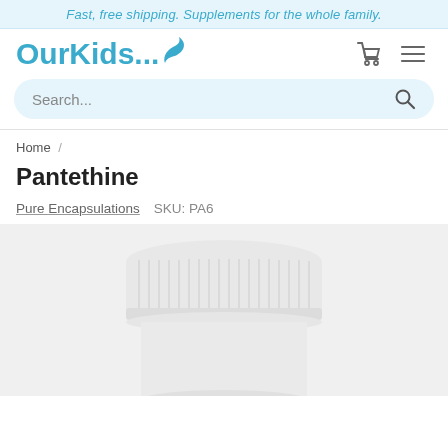Fast, free shipping. Supplements for the whole family.
[Figure (logo): OurKids... logo with blue bird/leaf icon and cart/hamburger menu icons]
Search...
Home /
Pantethine
Pure Encapsulations    SKU: PA6
[Figure (photo): White supplement bottle with ribbed white cap, partially visible, on light gray background]